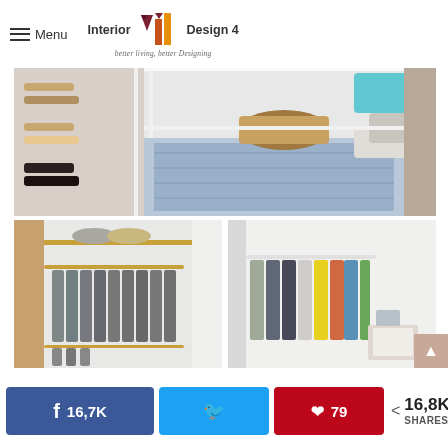Menu | Interior Design 4 - better living, better Designing
[Figure (photo): Bedroom with blue and white floral bedding, wicker basket on bed, shoes displayed on wall rack on left, pillows and organized closet items in background]
[Figure (photo): Walk-in closet with multiple gray/dark shirts hanging on lower rod and hats on shelf above]
[Figure (photo): Closet with colorful clothing (patterned, yellow, gray items) hanging on rod]
16,7K  [Twitter share button]  79  < 16,8K SHARES